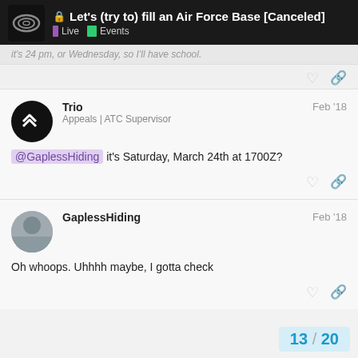Let's (try to) fill an Air Force Base [Canceled] | Live | Events
it's 24 pm, or Wednesday, so I'll have school.
Trio — Appeals | ATC Supervisor — Feb '18
@GaplessHiding  it's Saturday, March 24th at 1700Z?
GaplessHiding — Feb '18
Oh whoops. Uhhhh maybe, I gotta check
13 / 20